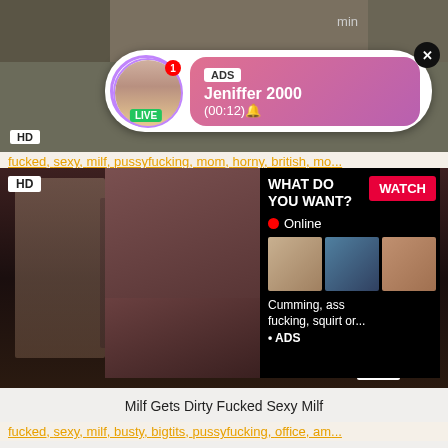[Figure (screenshot): Top background strip showing partial content/images at top of page]
[Figure (screenshot): Advertisement popup banner with avatar of woman, LIVE badge, ADS label, name Jeniffer 2000, time (00:12), pink gradient background, close X button]
fucked, sexy, milf, pussyfucking, mom, horny, british, mo...
[Figure (screenshot): Main video thumbnail showing adult content. HD badge top left. That[X] logo and 8 min duration bottom right. Overlaid popup with WHAT DO YOU WANT? text, WATCH button, Online indicator with red dot, three thumbnail images, text 'Cumming, ass fucking, squirt or...' and ADS label.]
Milf Gets Dirty Fucked Sexy Milf
fucked, sexy, milf, busty, bigtits, pussyfucking, office, am...